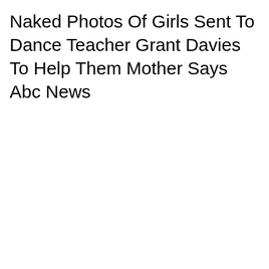Naked Photos Of Girls Sent To Dance Teacher Grant Davies To Help Them Mother Says Abc News